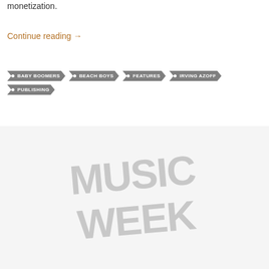monetization.
Continue reading →
• BABY BOOMERS
• BEACH BOYS
• FEATURES
• IRVING AZOFF
• PUBLISHING
[Figure (other): Watermark or background image with faded large text]